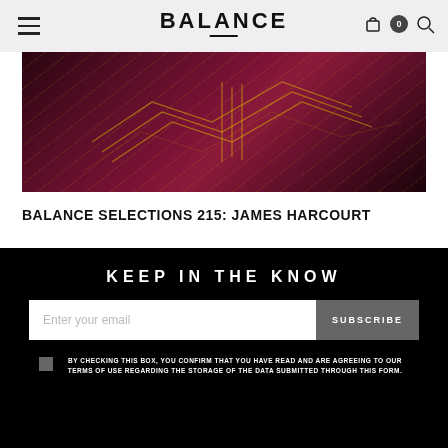BALANCE
[Figure (photo): Dark red and purple abstract image with glowing yellow geometric lines resembling a circuit board or electronic component, set against a deep crimson background]
BALANCE SELECTIONS 215: JAMES HARCOURT
AUGUST 12, 2022
KEEP IN THE KNOW
BY CHECKING THIS BOX, YOU CONFIRM THAT YOU HAVE READ AND ARE AGREEING TO OUR TERMS OF USE REGARDING THE STORAGE OF THE DATA SUBMITTED THROUGH THIS FORM.